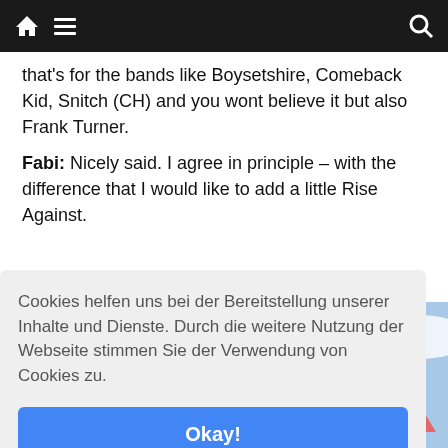[Navigation bar with home icon, menu icon, search icon]
that's for the bands like Boysetshire, Comeback Kid, Snitch (CH) and you wont believe it but also Frank Turner.
Fabi: Nicely said. I agree in principle – with the difference that I would like to add a little Rise Against.
[Figure (photo): Partial photo of a person against a cloudy sky background]
Cookies helfen uns bei der Bereitstellung unserer Inhalte und Dienste. Durch die weitere Nutzung der Webseite stimmen Sie der Verwendung von Cookies zu.
Okay!
Privacy & Cookies Policy